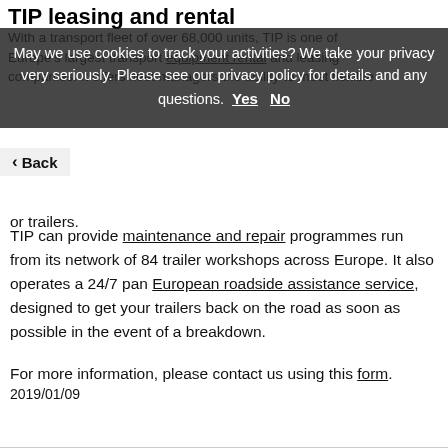TIP leasing and rental
May we use cookies to track your activities? We take your privacy very seriously. Please see our privacy policy for details and any questions.  Yes    No
With a transport fleet of over 68,000 units, TIP is one of Europe's largest transport equipment rental and leasing companies. It offers fleet managers the ability to meet flexible demands for trailers.
TIP can provide maintenance and repair programmes run from its network of 84 trailer workshops across Europe. It also operates a 24/7 pan European roadside assistance service, designed to get your trailers back on the road as soon as possible in the event of a breakdown.
For more information, please contact us using this form.
2019/01/09